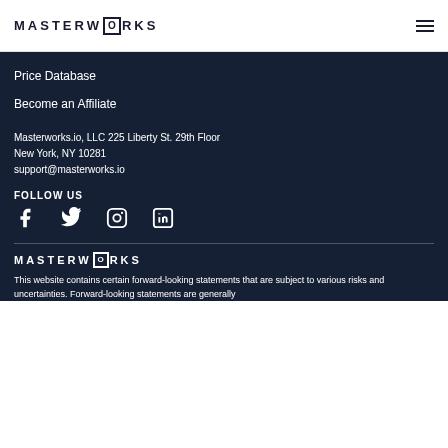MASTERWORKS
Price Database
Become an Affiliate
Masterworks.io, LLC 225 Liberty St. 29th Floor
New York, NY 10281
support@masterworks.io
FOLLOW US
[Figure (infographic): Social media icons: Facebook, Twitter, Instagram, LinkedIn]
[Figure (logo): Masterworks logo in white on dark background]
This website contains certain forward-looking statements that are subject to various risks and uncertainties. Forward-looking statements are generally